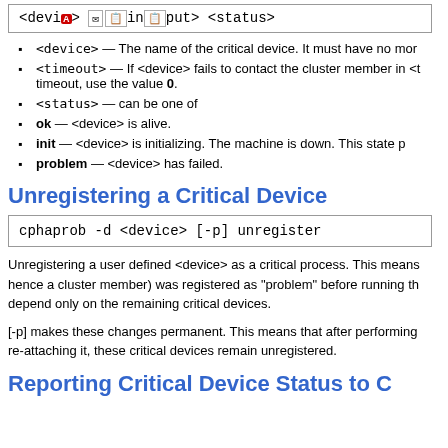[Figure (screenshot): Code box showing: <device> <input> <status>]
<device> — The name of the critical device. It must have no mor
<timeout> — If <device> fails to contact the cluster member in <t timeout, use the value 0.
<status> — can be one of
ok — <device> is alive.
init — <device> is initializing. The machine is down. This state p
problem — <device> has failed.
Unregistering a Critical Device
[Figure (screenshot): Code box showing: cphaprob -d <device> [-p] unregister]
Unregistering a user defined <device> as a critical process. This means hence a cluster member) was registered as "problem" before running th depend only on the remaining critical devices.
[-p] makes these changes permanent. This means that after performing re-attaching it, these critical devices remain unregistered.
Reporting Critical Device Status to C